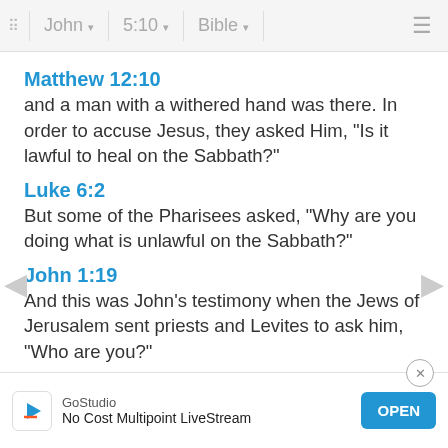John  5:10  Bible
Matthew 12:10
and a man with a withered hand was there. In order to accuse Jesus, they asked Him, "Is it lawful to heal on the Sabbath?"
Luke 6:2
But some of the Pharisees asked, "Why are you doing what is unlawful on the Sabbath?"
John 1:19
And this was John's testimony when the Jews of Jerusalem sent priests and Levites to ask him, "Who are you?"
John 5:11
But he answered, "The man who made me w... told me, 'P...
[Figure (screenshot): Ad banner: GoStudio - No Cost Multipoint LiveStream with OPEN button]